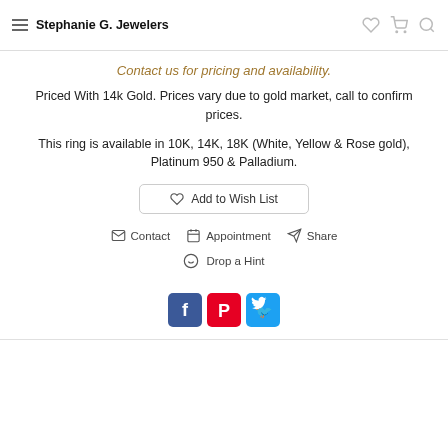Stephanie G. Jewelers
Contact us for pricing and availability.
Priced With 14k Gold. Prices vary due to gold market, call to confirm prices.
This ring is available in 10K, 14K, 18K (White, Yellow & Rose gold), Platinum 950 & Palladium.
Add to Wish List
Contact   Appointment   Share
Drop a Hint
[Figure (screenshot): Social media share buttons: Facebook (blue), Pinterest (red), Twitter (blue)]